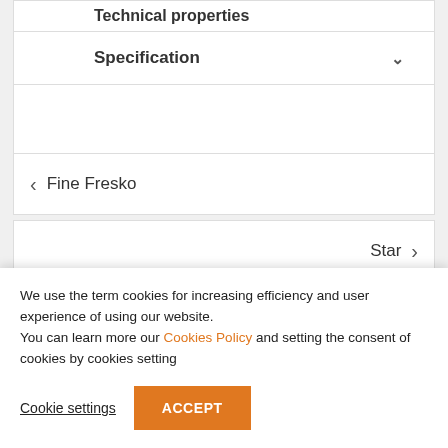Technical properties
Specification
Fine Fresko
Star
We use the term cookies for increasing efficiency and user experience of using our website.
You can learn more our Cookies Policy and setting the consent of cookies by cookies setting
Cookie settings
ACCEPT